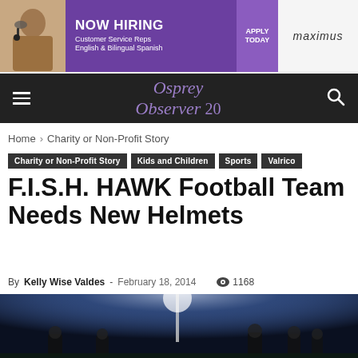[Figure (photo): Advertisement banner: Maximus company ad showing a woman with headset, NOW HIRING Customer Service Reps, English & Bilingual Spanish, APPLY TODAY]
Osprey Observer 20 — navigation bar with hamburger menu and search icon
Home › Charity or Non-Profit Story
Charity or Non-Profit Story | Kids and Children | Sports | Valrico
F.I.S.H. HAWK Football Team Needs New Helmets
By Kelly Wise Valdes - February 18, 2014   1168
[Figure (photo): Night football game photo showing players on field under bright stadium lights with blue-lit background]